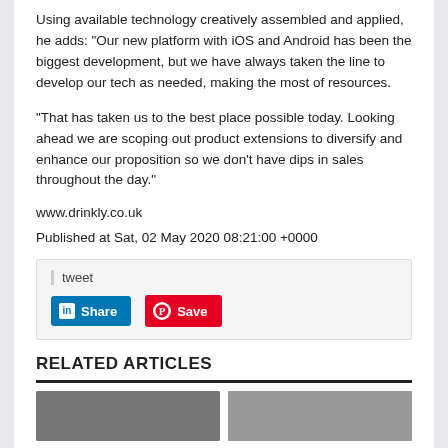Using available technology creatively assembled and applied, he adds: “Our new platform with iOS and Android has been the biggest development, but we have always taken the line to develop our tech as needed, making the most of resources.
“That has taken us to the best place possible today. Looking ahead we are scoping out product extensions to diversify and enhance our proposition so we don’t have dips in sales throughout the day.”
www.drinkly.co.uk
Published at Sat, 02 May 2020 08:21:00 +0000
tweet
[Figure (other): LinkedIn Share button (blue) and Pinterest Save button (red)]
RELATED ARTICLES
[Figure (photo): Two related article thumbnail images partially visible at bottom]